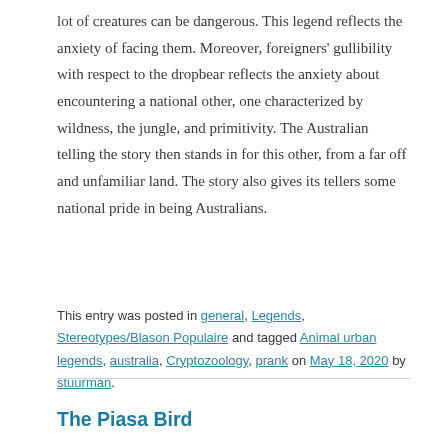lot of creatures can be dangerous. This legend reflects the anxiety of facing them. Moreover, foreigners' gullibility with respect to the dropbear reflects the anxiety about encountering a national other, one characterized by wildness, the jungle, and primitivity. The Australian telling the story then stands in for this other, from a far off and unfamiliar land. The story also gives its tellers some national pride in being Australians.
This entry was posted in general, Legends, Stereotypes/Blason Populaire and tagged Animal urban legends, australia, Cryptozoology, prank on May 18, 2020 by stuurman.
The Piasa Bird